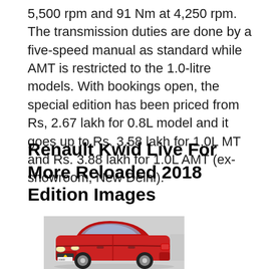5,500 rpm and 91 Nm at 4,250 rpm. The transmission duties are done by a five-speed manual as standard while AMT is restricted to the 1.0-litre models. With bookings open, the special edition has been priced from Rs, 2.67 lakh for 0.8L model and it goes up to Rs. 3.58 lakh for 1.0L MT and Rs. 3.88 lakh for 1.0L AMT (ex-showroom, New Delhi).
Renault Kwid Live For More Reloaded 2018 Edition Images
[Figure (photo): Red Renault Kwid car, front three-quarter view, partially cropped on the right side]